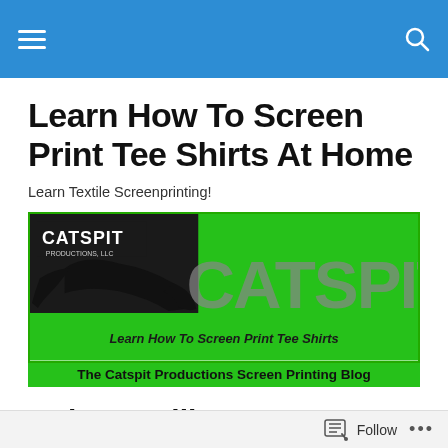Learn How To Screen Print Tee Shirts At Home
Learn Textile Screenprinting!
[Figure (logo): Catspit Productions banner on green background with panther logo and text 'CATSPIT Learn How To Screen Print Tee Shirts']
The Catspit Productions Screen Printing Blog
Bob Cat Silk Screen Printing Kit
Follow